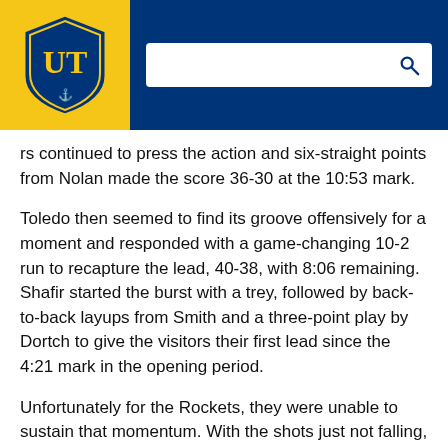[Figure (logo): University of Toledo shield logo with UT letters, gold and blue colors, on yellow background header]
rs continued to press the action and six-straight points from Nolan made the score 36-30 at the 10:53 mark.
Toledo then seemed to find its groove offensively for a moment and responded with a game-changing 10-2 run to recapture the lead, 40-38, with 8:06 remaining. Shafir started the burst with a trey, followed by back-to-back layups from Smith and a three-point play by Dortch to give the visitors their first lead since the 4:21 mark in the opening period.
Unfortunately for the Rockets, they were unable to sustain that momentum. With the shots just not falling, UT relied on its defense to maintain its